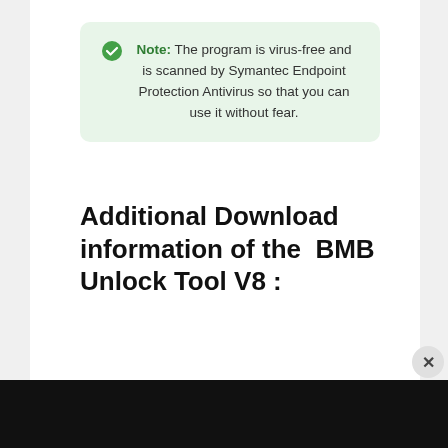Note: The program is virus-free and is scanned by Symantec Endpoint Protection Antivirus so that you can use it without fear.
Additional Download information of the  BMB Unlock Tool V8 :